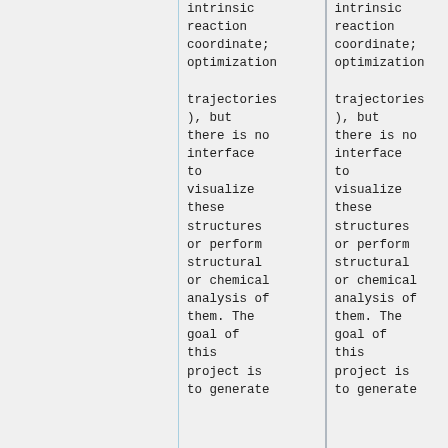| (col1) | (col2) |
| --- | --- |
| intrinsic reaction coordinate; optimization | intrinsic reaction coordinate; optimization |
| trajectories), but there is no interface to visualize these structures or perform structural or chemical analysis of them. The goal of this project is to generate | trajectories), but there is no interface to visualize these structures or perform structural or chemical analysis of them. The goal of this project is to generate |